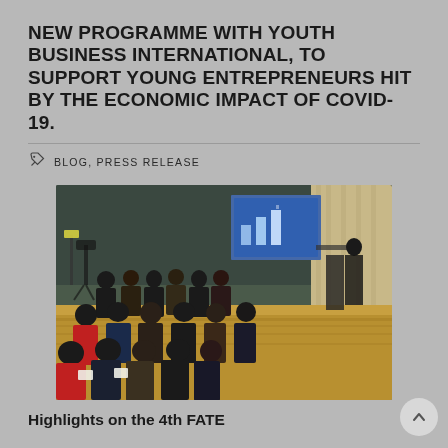NEW PROGRAMME WITH YOUTH BUSINESS INTERNATIONAL, TO SUPPORT YOUNG ENTREPRENEURS HIT BY THE ECONOMIC IMPACT OF COVID-19.
BLOG, PRESS RELEASE
[Figure (photo): Conference room scene with rows of attendees seated, facing a presenter at a podium on the right side. A projection screen shows a blue slide with a chart. The room has carpet flooring and curtained windows. Camera crew visible in the background.]
Highlights on the 4th FATE